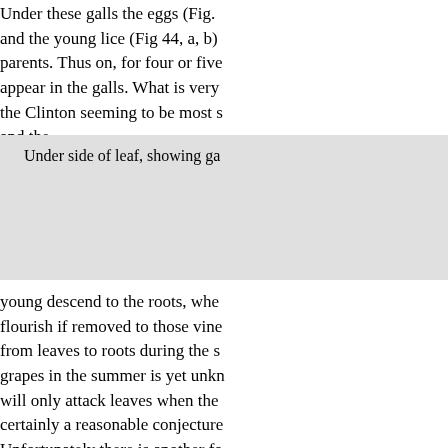Under these galls the eggs (Fig. and the young lice (Fig 44, a, b) parents. Thus on, for four or five appear in the galls. What is very the Clinton seeming to be most s and the
Under side of leaf, showing ga
young descend to the roots, whe flourish if removed to those vine from leaves to roots during the s grapes in the summer is yet unkn will only attack leaves when the certainly a reasonable conjecture Unfortunately there is another fo future of grape growing in Europ distinguishable from those of the smooth, like those formed in the become large before and taper ba always bright yellow, always of t f), and at last come forth with we